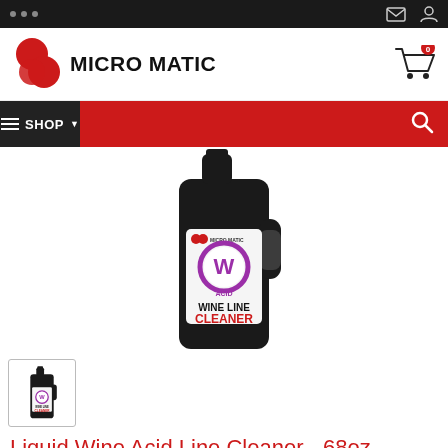[Figure (screenshot): Mobile browser system bar with three dots and envelope/person icons]
[Figure (logo): Micro Matic logo with red overlapping circles and bold uppercase text MICRO MATIC]
[Figure (screenshot): Shopping cart icon with 0 badge]
[Figure (screenshot): Navigation bar with hamburger menu, SHOP dropdown, and search icon]
[Figure (photo): Micro Matic Wine Line Cleaner 68oz black bottle with W ACID label and pink/purple circle branding]
[Figure (photo): Thumbnail of the Wine Line Cleaner bottle]
Liquid Wine Acid Line Cleaner - 68oz Bottle
# MM-WA68